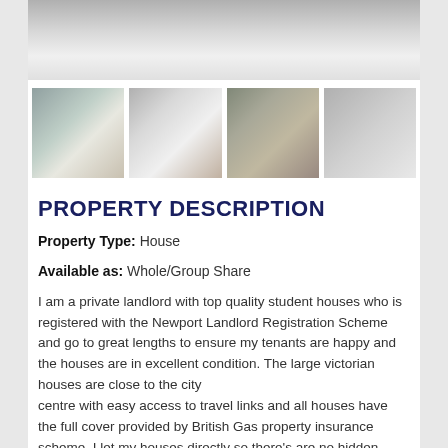[Figure (photo): Main interior photo of a room with white walls and ceiling, partially visible]
[Figure (photo): Row of four thumbnail photos: bedroom with mirror, bathroom with sink and shower, exterior of Victorian terraced house, interior room with grey walls]
PROPERTY DESCRIPTION
Property Type: House
Available as: Whole/Group Share
I am a private landlord with top quality student houses who is registered with the Newport Landlord Registration Scheme and go to great lengths to ensure my tenants are happy and the houses are in excellent condition. The large victorian houses are close to the city centre with easy access to travel links and all houses have the full cover provided by British Gas property insurance scheme. I let my houses directly so there's are no hidden